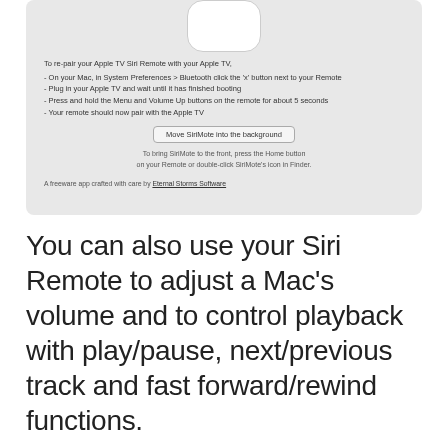[Figure (screenshot): Screenshot of SiriMote macOS app showing re-pairing instructions for Apple TV Siri Remote, a 'Move SiriMote into the background' button, and a freeware attribution to Eternal Storms Software.]
You can also use your Siri Remote to adjust a Mac's volume and to control playback with play/pause, next/previous track and fast forward/rewind functions.